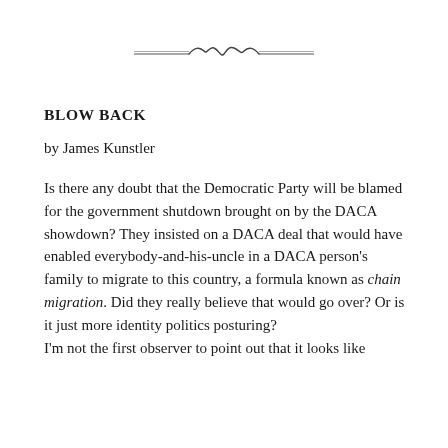[Figure (illustration): Decorative ornamental divider line with a stylized cursive flourish in the center, flanked by straight lines on each side.]
BLOW BACK
by James Kunstler
Is there any doubt that the Democratic Party will be blamed for the government shutdown brought on by the DACA showdown? They insisted on a DACA deal that would have enabled everybody-and-his-uncle in a DACA person’s family to migrate to this country, a formula known as chain migration. Did they really believe that would go over? Or is it just more identity politics posturing?
I’m not the first observer to point out that it looks like